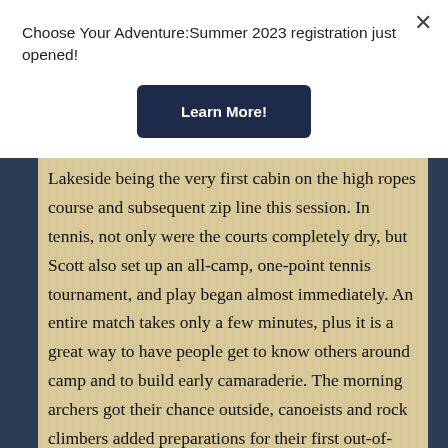Choose Your Adventure: Summer 2023 registration just opened!
Learn More!
Lakeside being the very first cabin on the high ropes course and subsequent zip line this session. In tennis, not only were the courts completely dry, but Scott also set up an all-camp, one-point tennis tournament, and play began almost immediately. An entire match takes only a few minutes, plus it is a great way to have people get to know others around camp and to build early camaraderie. The morning archers got their chance outside, canoeists and rock climbers added preparations for their first out-of-camp trips—tomorrow—while sailboats were abroad on the lake and some incautious brim got surprised when they were